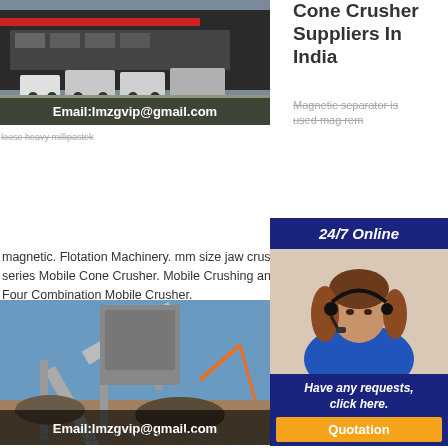Cone Crusher Suppliers In India
[Figure (photo): Industrial building exterior with mobile crushing machines and trucks. Email:lmzgvip@gmail.com overlay.]
Magnetic separator is used ... magnetic ... rem ... magnetic. Flotation Machinery. mm size jaw crush ... series Mobile Cone Crusher. Mobile Crushing and ... Four Combination Mobile Crusher.
[Figure (photo): Industrial conveyor belt crusher plant. Email:lmzgvip@gmail.com overlay.]
doli... price... Dolomite crusher suppliers from thailand ceus a dolomite stone crusher manufacturers in india pain 2 thailand 1 et price and support online buy dolomite from thailand
[Figure (other): 24/7 Online chat widget with customer service representative photo and 'Have any requests, click here.' message and Quotation button.]